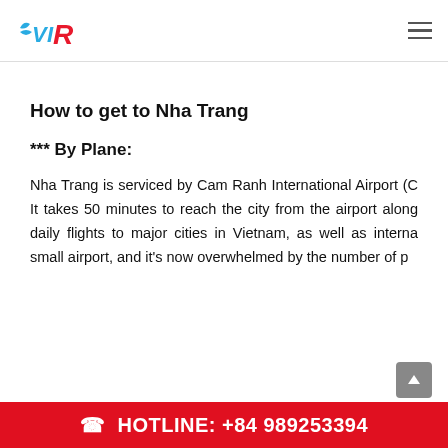VIR logo and navigation menu
How to get to Nha Trang
*** By Plane:
Nha Trang is serviced by Cam Ranh International Airport (C It takes 50 minutes to reach the city from the airport along daily flights to major cities in Vietnam, as well as interna small airport, and it's now overwhelmed by the number of p
HOTLINE: +84 989253394